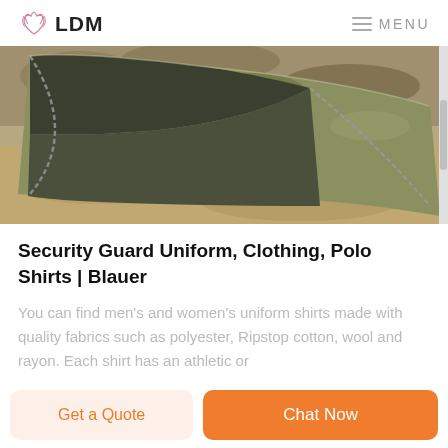LDM  MENU
[Figure (photo): A sleeping bag or military bivouac bag shown open, with a camouflage exterior and dark olive/grey interior, photographed outdoors on rocky/sandy ground.]
Security Guard Uniform, Clothing, Polo Shirts | Blauer
You can find men's and women's uniform shirts made with quality fabrics such as polyester, Ripstop cotton, wool and rayon. Each shirt has an athletic or
Get a Quote
Chat Now